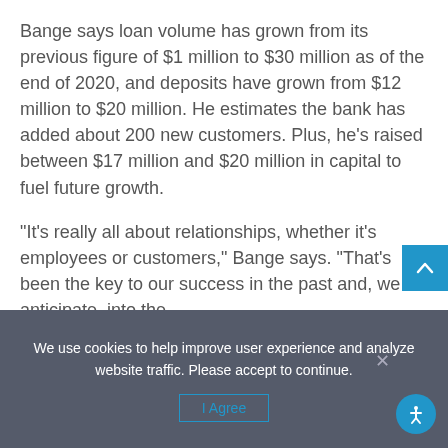Bange says loan volume has grown from its previous figure of $1 million to $30 million as of the end of 2020, and deposits have grown from $12 million to $20 million. He estimates the bank has added about 200 new customers. Plus, he's raised between $17 million and $20 million in capital to fuel future growth.
“It’s really all about relationships, whether it’s employees or customers,” Bange says. “That’s been the key to our success in the past and, we anticipate, into the
We use cookies to help improve user experience and analyze website traffic. Please accept to continue.
I Agree